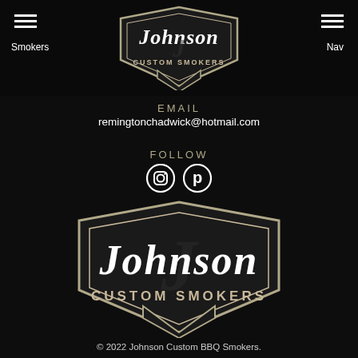[Figure (logo): Johnson Custom Smokers logo — shield shape with Gothic 'Johnson' text and 'CUSTOM SMOKERS' below, small version in header]
Smokers
Nav
EMAIL
remingtonchadwick@hotmail.com
FOLLOW
[Figure (logo): Instagram and Pinterest social media icons in white]
[Figure (logo): Johnson Custom Smokers logo — large version with shield, Gothic 'Johnson' text and 'CUSTOM SMOKERS' below]
© 2022 Johnson Custom BBQ Smokers.